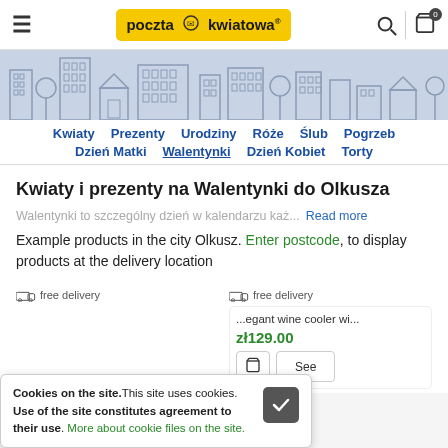poczta kwiatowa
[Figure (illustration): City skyline banner illustration with buildings and trees in grey outline style]
Kwiaty  Prezenty  Urodziny  Róże  Ślub  Pogrzeb  Dzień Matki  Walentynki  Dzień Kobiet  Torty
Kwiaty i prezenty na Walentynki do Olkusza
Walentynki to szczególny dzień w kalendarzu każ...  Read more
Example products in the city Olkusz. Enter postcode, to display products at the delivery location
[Figure (screenshot): Product card showing free delivery icon and elegant wine cooler product at zł129.00 with cart and See buttons]
Cookies on the site. This site uses cookies. Use of the site constitutes agreement to their use. More about cookie files on the site.